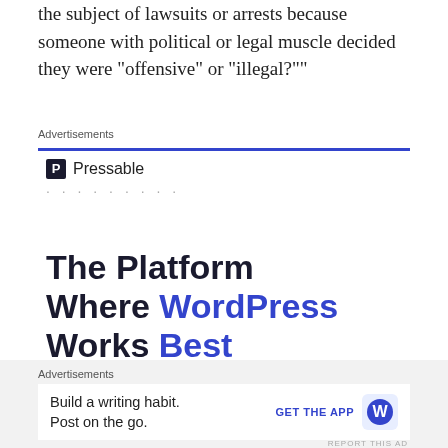the subject of lawsuits or arrests because someone with political or legal muscle decided they were “offensive” or “illegal?””
Advertisements
[Figure (infographic): Pressable advertisement: logo with P icon and Pressable name, dots row, headline 'The Platform Where WordPress Works Best', blue SEE PRICING button]
Advertisements
[Figure (infographic): WordPress app advertisement: 'Build a writing habit. Post on the go.' with GET THE APP button and WordPress icon]